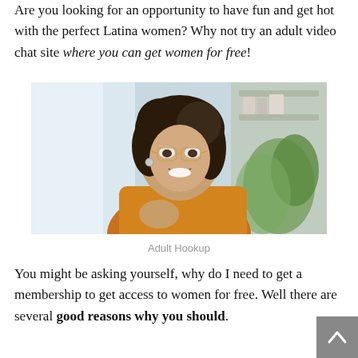Are you looking for an opportunity to have fun and get hot with the perfect Latina women? Why not try an adult video chat site where you can get women for free!
[Figure (photo): Smiling young woman with curly hair and glasses wearing a yellow/orange sweater, photographed indoors with plants and shelves in background]
Adult Hookup
You might be asking yourself, why do I need to get a membership to get access to women for free. Well there are several good reasons why you should.